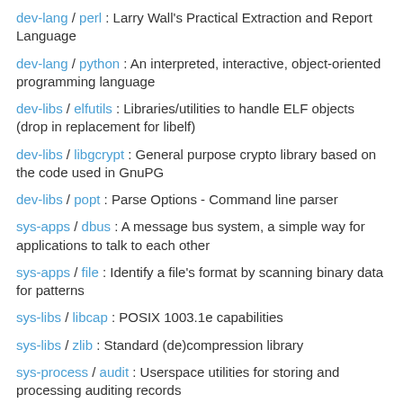dev-lang / perl : Larry Wall's Practical Extraction and Report Language
dev-lang / python : An interpreted, interactive, object-oriented programming language
dev-libs / elfutils : Libraries/utilities to handle ELF objects (drop in replacement for libelf)
dev-libs / libgcrypt : General purpose crypto library based on the code used in GnuPG
dev-libs / popt : Parse Options - Command line parser
sys-apps / dbus : A message bus system, a simple way for applications to talk to each other
sys-apps / file : Identify a file's format by scanning binary data for patterns
sys-libs / libcap : POSIX 1003.1e capabilities
sys-libs / zlib : Standard (de)compression library
sys-process / audit : Userspace utilities for storing and processing auditing records